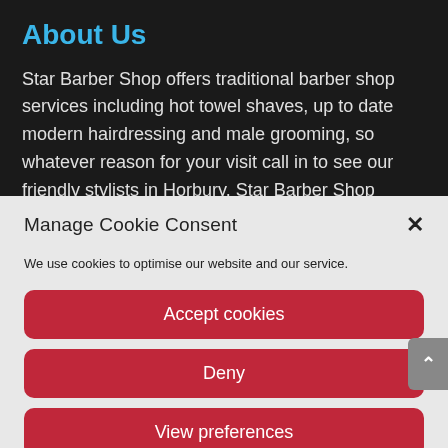About Us
Star Barber Shop offers traditional barber shop services including hot towel shaves, up to date modern hairdressing and male grooming, so whatever reason for your visit call in to see our friendly stylists in Horbury. Star Barber Shop caters
Manage Cookie Consent
We use cookies to optimise our website and our service.
Accept cookies
Deny
View preferences